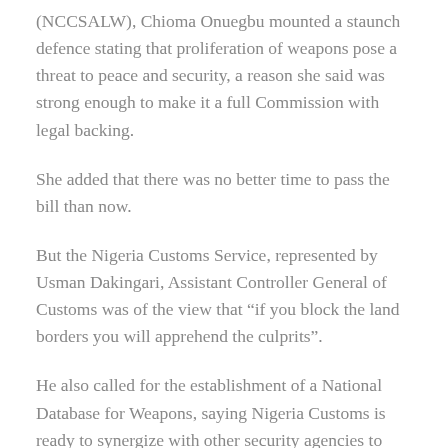(NCCSALW), Chioma Onuegbu mounted a staunch defence stating that proliferation of weapons pose a threat to peace and security, a reason she said was strong enough to make it a full Commission with legal backing.
She added that there was no better time to pass the bill than now.
But the Nigeria Customs Service, represented by Usman Dakingari, Assistant Controller General of Customs was of the view that “if you block the land borders you will apprehend the culprits”.
He also called for the establishment of a National Database for Weapons, saying Nigeria Customs is ready to synergize with other security agencies to curb the menace.
Declaring the session open, the Senate President, Senator Ahmad Lawan linked challenges associated with small and